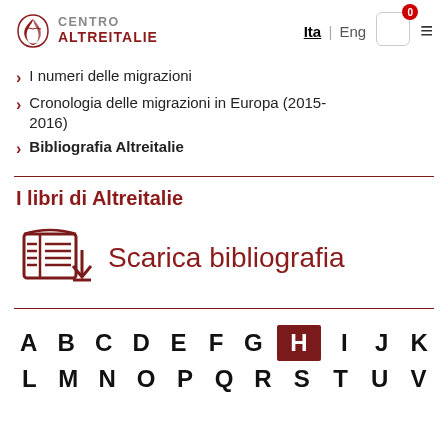Centro Altreitalie — Ita | Eng — navigation header
I numeri delle migrazioni
Cronologia delle migrazioni in Europa (2015-2016)
Bibliografia Altreitalie
I libri di Altreitalie
[Figure (illustration): Book icon with lines representing text, in dark red color]
Scarica bibliografia
A B C D E F G H I J K
L M N O P Q R S T U V